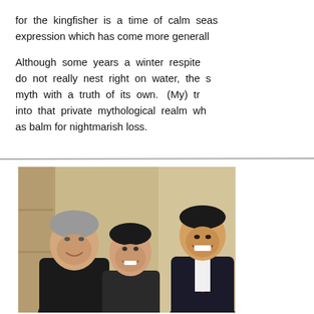for the kingfisher is a time of calm seas expression which has come more generally
Although some years a winter respite do not really nest right on water, the s myth with a truth of its own. (My) tr into that private mythological realm wh as balm for nightmarish loss.
[Figure (photo): A photo of three people smiling together: a man with gray hair on the left wearing a dark shirt, a young woman in the middle, and an Asian man on the right wearing a dark suit with a red tie.]